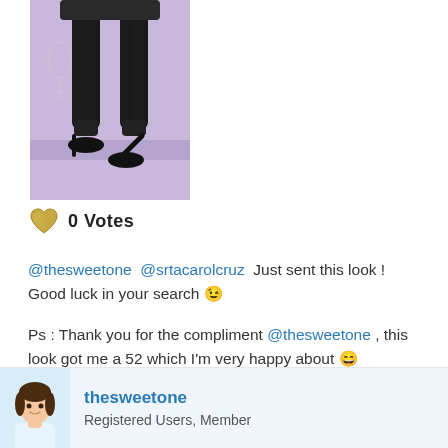[Figure (illustration): Animated/illustrated character lower body showing legs in black tights/stockings and black high heel shoes, wearing a short dark skirt, standing in front of a stylized purple/mauve bar scene background with a wine bottle and glass visible.]
0 Votes
@thesweetone @srtacarolcruz Just sent this look ! Good luck in your search 😉
Ps : Thank you for the compliment @thesweetone , this look got me a 52 which I'm very happy about 😄
thesweetone
Registered Users, Member